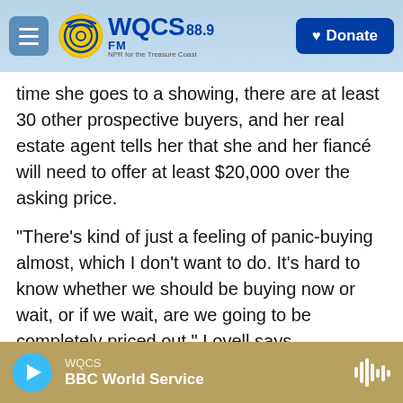WQCS 88.9 FM — NPR for the Treasure Coast | Donate
time she goes to a showing, there are at least 30 other prospective buyers, and her real estate agent tells her that she and her fiancé will need to offer at least $20,000 over the asking price.
"There's kind of just a feeling of panic-buying almost, which I don't want to do. It's hard to know whether we should be buying now or wait, or if we wait, are we going to be completely priced out," Lovell says.
Will it only get worse for Lovell, or should she ride it out and wait for some sort of correction or even crash? That's a question real estate economists
WQCS — BBC World Service